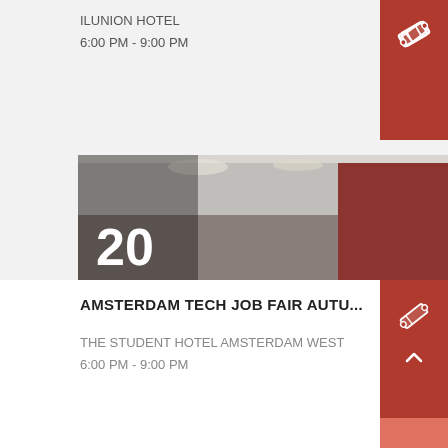ILUNION HOTEL
6:00 PM - 9:00 PM
[Figure (photo): Event banner photo showing a crowd of people at a tech job fair event. Overlays show date (20 October 2022), event title 'AMSTERDAM TECH JOB FAIR', location 'THE STUDENT HOTEL AMSTERDAM WEST', date 'THU, 20 OCT 2022', and website 'TECHMEETUPS.COM']
AMSTERDAM TECH JOB FAIR AUTU...
THE STUDENT HOTEL AMSTERDAM WEST
6:00 PM - 9:00 PM